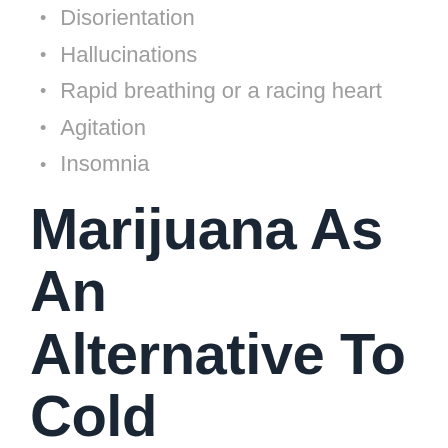Disorientation
Hallucinations
Rapid breathing or a racing heart
Agitation
Insomnia
Headache
Vomiting
Nausea
Sweating
Shaky Hands
Panic attacks
Marijuana As An Alternative To Cold